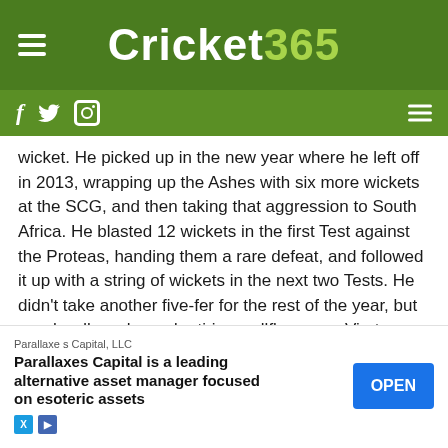Cricket 365
wicket. He picked up in the new year where he left off in 2013, wrapping up the Ashes with six more wickets at the SCG, and then taking that aggression to South Africa. He blasted 12 wickets in the first Test against the Proteas, handing them a rare defeat, and followed it up with a string of wickets in the next two Tests. He didn't take another five-fer for the rest of the year, but was hardly a shy and retiring wallflower, as Virat Kohli's helmet can attest.
11. Rangana Herath – Sri Lanka (Tests: 10, Wickets: 60, Ave; 27.45)
Did you know that the veteran spinner, who bowled nearly double... er when h... r should...
[Figure (other): Advertisement overlay: Parallaxes Capital, LLC - Parallaxes Capital is a leading alternative asset manager focused on esoteric assets. OPEN button.]